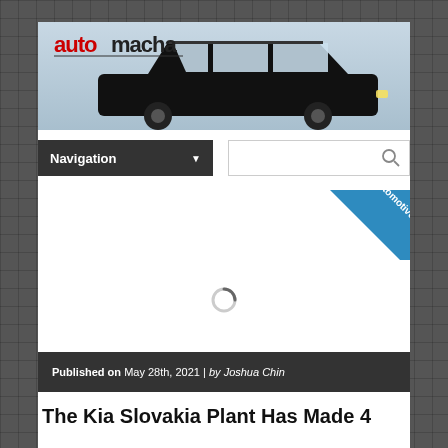[Figure (screenshot): Automacha website header banner with a black SUV/wagon car on a light blue-grey background, with the automacha logo in the top left (red and black stylized text)]
Navigation ▼
[Figure (illustration): Search icon (magnifying glass) inside a search box]
[Figure (illustration): Automotive category ribbon badge in blue, rotated diagonally in top right corner with text 'Automotive']
[Figure (illustration): Loading spinner circle icon in center of content area]
Published on May 28th, 2021 | by Joshua Chin
The Kia Slovakia Plant Has Made 4